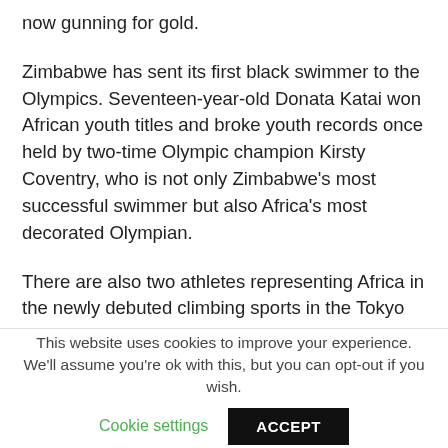now gunning for gold.
Zimbabwe has sent its first black swimmer to the Olympics. Seventeen-year-old Donata Katai won African youth titles and broke youth records once held by two-time Olympic champion Kirsty Coventry, who is not only Zimbabwe's most successful swimmer but also Africa's most decorated Olympian.
There are also two athletes representing Africa in the newly debuted climbing sports in the Tokyo Games — and hope to inspire the continent's next crop of athletes to take up the sport. The duo are South Africa's 20-year-old Christopher
This website uses cookies to improve your experience. We'll assume you're ok with this, but you can opt-out if you wish.
Cookie settings   ACCEPT